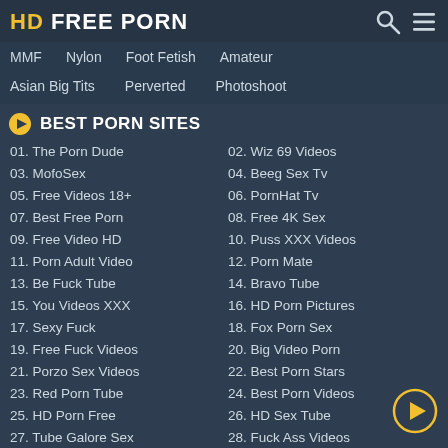HD FREE PORN
MMF
Nylon
Foot Fetish
Amateur
Asian Big Tits
Perverted
Photoshoot
BEST PORN SITES
01. The Porn Dude
02. Wiz 69 Videos
03. MofoSex
04. Beeg Sex Tv
05. Free Videos 18+
06. PornHat Tv
07. Best Free Porn
08. Free 4K Sex
09. Free Video HD
10. Puss XXX Videos
11. Porn Adult Video
12. Porn Mate
13. Be Fuck Tube
14. Bravo Tube
15. You Videos XXX
16. HD Porn Pictures
17. Sexy Fuck
18. Fox Porn Sex
19. Free Fuck Videos
20. Big Video Porn
21. Porzo Sex Videos
22. Best Porn Stars
23. Red Porn Tube
24. Best Porn Videos
25. HD Porn Free
26. HD Sex Tube
27. Tube Galore Sex
28. Fuck Ass Videos
29. Fap Teen Porn
30. Hot Movs Sex